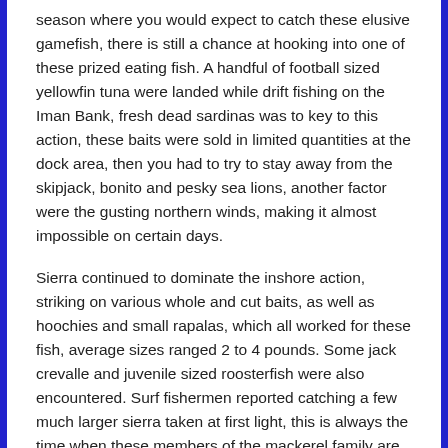season where you would expect to catch these elusive gamefish, there is still a chance at hooking into one of these prized eating fish. A handful of football sized yellowfin tuna were landed while drift fishing on the Iman Bank, fresh dead sardinas was to key to this action, these baits were sold in limited quantities at the dock area, then you had to try to stay away from the skipjack, bonito and pesky sea lions, another factor were the gusting northern winds, making it almost impossible on certain days.
Sierra continued to dominate the inshore action, striking on various whole and cut baits, as well as hoochies and small rapalas, which all worked for these fish, average sizes ranged 2 to 4 pounds. Some jack crevalle and juvenile sized roosterfish were also encountered. Surf fishermen reported catching a few much larger sierra taken at first light, this is always the time when these members of the mackerel family are more aggressive.